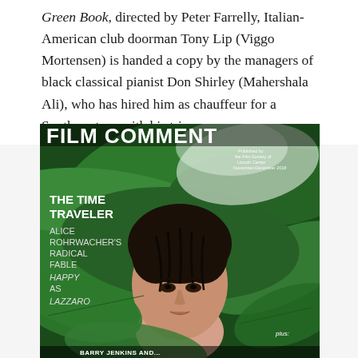Green Book, directed by Peter Farrelly, Italian-American club doorman Tony Lip (Viggo Mortensen) is handed a copy by the managers of black classical pianist Don Shirley (Mahershala Ali), who has hired him as chauffeur for a Southern tour with his trio.
[Figure (photo): Film Comment magazine cover, November-December 2018. Shows a young man with dark wet hair partially hidden among large green leaves. Cover text reads: FILM COMMENT, THE TIME TRAVELER, ALICE ROHRWACHER'S RADICAL FABLE HAPPY AS LAZZARO. Bottom text: plus: BARRY JENKINS AND...]